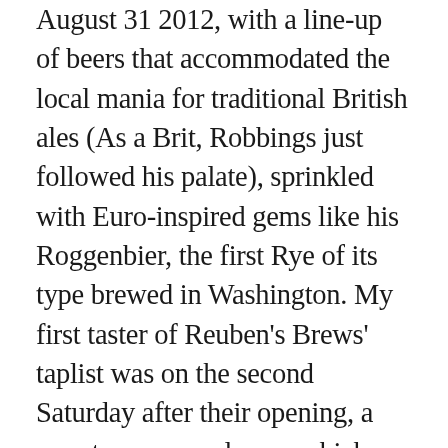August 31 2012, with a line-up of beers that accommodated the local mania for traditional British ales (As a Brit, Robbings just followed his palate), sprinkled with Euro-inspired gems like his Roggenbier, the first Rye of its type brewed in Washington. My first taster of Reuben's Brews' taplist was on the second Saturday after their opening, a sweaty summer day on which their tiny taproom had crowds crammed into the brewery, with visitors' back literally resting against the brew tanks. I tasted nine beers and each one was better and more jewel-perfect than the last. Robbings' beers were in